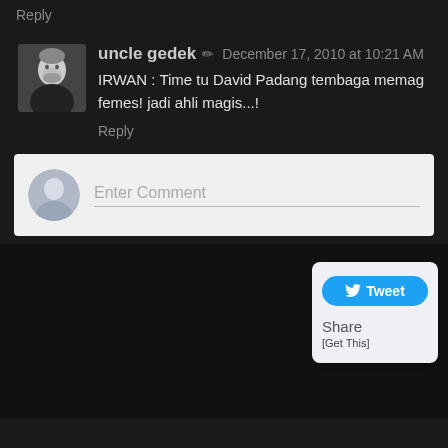Reply
uncle gedek ✏ December 17, 2010 at 10:21 AM
IRWAN : Time tu David Padang tembaga memag femes! jadi ahli magis...!
Reply
Enter Comment
[Figure (screenshot): Tweet button widget with Share and [Get This] links]